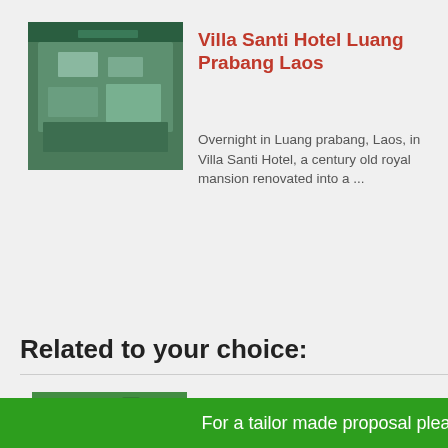[Figure (photo): Aerial view of Villa Santi Hotel with lush greenery and buildings]
Villa Santi Hotel Luang Prabang Laos
Overnight in Luang prabang, Laos, in Villa Santi Hotel, a century old royal mansion renovated into a ...
Near Night Bazaa...
Surrounded by ma...
White Temple is 1...
Tour desk availabl...
Related to your choice:
[Figure (photo): Person on a zipline in a lush green valley]
Zipline adventure in the Mae Sa Valley
Our zipline adventure is perfectly located under an hour outside of chiang mai city center. Situated between three hill tribe villages, up in a hillsi ...
From: € 49 p.p.
[Figure (photo): Hotel Yadanarbon Bagan placeholder image]
Hotel Yadanarbon Bagan
For a tailor made proposal please click this bar!